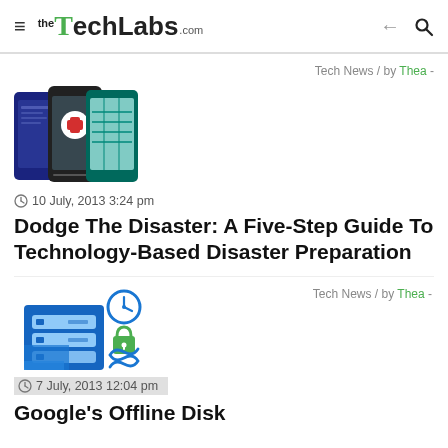TheTechLabs.com
Tech News / by Thea -
[Figure (photo): Three smartphones showing apps including a red cross medical app]
10 July, 2013 3:24 pm
Dodge The Disaster: A Five-Step Guide To Technology-Based Disaster Preparation
Tech News / by Thea -
[Figure (illustration): Blue server/database icon with clock, lock, and infinity symbols]
7 July, 2013 12:04 pm
Google's Offline Disk